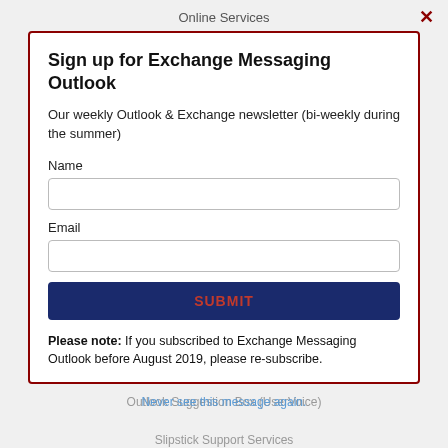Online Services
Sign up for Exchange Messaging Outlook
Our weekly Outlook & Exchange newsletter (bi-weekly during the summer)
Name
Email
SUBMIT
Please note: If you subscribed to Exchange Messaging Outlook before August 2019, please re-subscribe.
Outlook Suggestion Box (UserVoice)
Never see this message again.
Slipstick Support Services